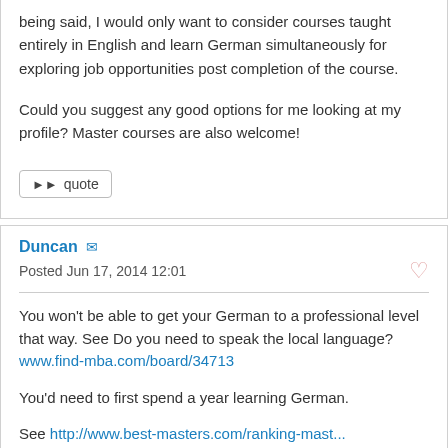being said, I would only want to consider courses taught entirely in English and learn German simultaneously for exploring job opportunities post completion of the course.

Could you suggest any good options for me looking at my profile? Master courses are also welcome!
Duncan
Posted Jun 17, 2014 12:01
You won't be able to get your German to a professional level that way. See Do you need to speak the local language? www.find-mba.com/board/34713

You'd need to first spend a year learning German.

See http://www.best-masters.com/ranking-mast...